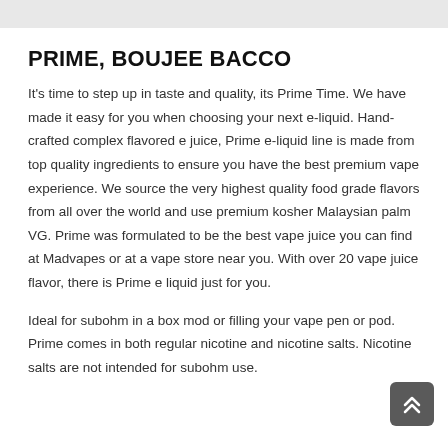PRIME, BOUJEE BACCO
It's time to step up in taste and quality, its Prime Time. We have made it easy for you when choosing your next e-liquid. Hand-crafted complex flavored e juice, Prime e-liquid line is made from top quality ingredients to ensure you have the best premium vape experience. We source the very highest quality food grade flavors from all over the world and use premium kosher Malaysian palm VG. Prime was formulated to be the best vape juice you can find at Madvapes or at a vape store near you. With over 20 vape juice flavor, there is Prime e liquid just for you.
Ideal for subohm in a box mod or filling your vape pen or pod. Prime comes in both regular nicotine and nicotine salts. Nicotine salts are not intended for subohm use.